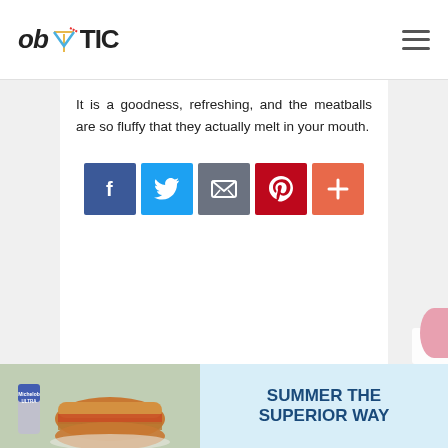ob TIC
It is a goodness, refreshing, and the meatballs are so fluffy that they actually melt in your mouth.
[Figure (infographic): Social share buttons: Facebook (blue), Twitter (light blue), Email (gray), Pinterest (red), More/Plus (orange-red)]
[Figure (photo): Advertisement banner: photo of burger and Michelob Ultra beer can on left, blue background with text SUMMER THE SUPERIOR WAY on right]